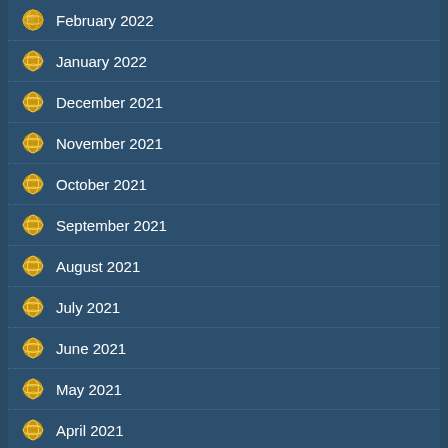February 2022
January 2022
December 2021
November 2021
October 2021
September 2021
August 2021
July 2021
June 2021
May 2021
April 2021
March 2021
February 2021
January 2021
December 2020